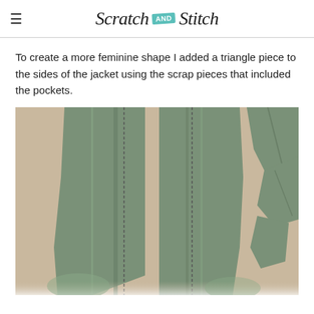Scratch AND Stitch
To create a more feminine shape I added a triangle piece to the sides of the jacket using the scrap pieces that included the pockets.
[Figure (photo): Green military-style jacket fabric pieces laid flat on a beige surface, showing the body of the jacket with zipper seams, and separate scrap/pocket pieces to the right.]